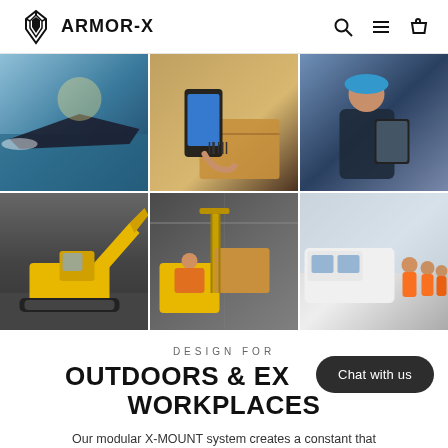ARMOR-X
[Figure (photo): Six-panel photo grid: speedboat on water, person scanning a phone over a package, warehouse worker with tablet, yellow excavator at work site, forklift in warehouse, workers in orange vests near a white van]
DESIGN FOR
OUTDOORS & EXTREME WORKPLACES
Our modular X-MOUNT system creates a constant that